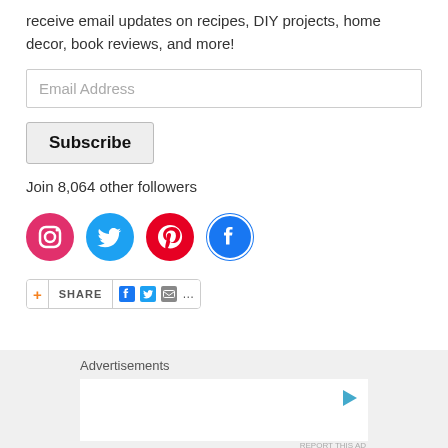receive email updates on recipes, DIY projects, home decor, book reviews, and more!
[Figure (screenshot): Email Address input field]
[Figure (screenshot): Subscribe button]
Join 8,064 other followers
[Figure (infographic): Social media icons: Instagram (pink/red circle), Twitter (blue circle), Pinterest (red circle), Facebook (blue circle)]
[Figure (screenshot): Share bar with plus icon, SHARE label, Facebook, Twitter, email icons and ellipsis]
Advertisements
[Figure (screenshot): Advertisement placeholder box with play/info icon in top right]